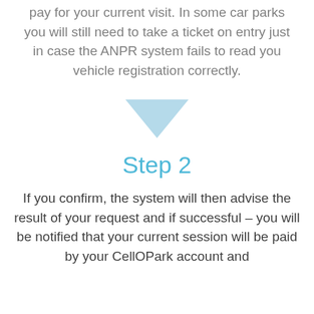pay for your current visit. In some car parks you will still need to take a ticket on entry just in case the ANPR system fails to read you vehicle registration correctly.
[Figure (illustration): A light blue downward-pointing triangle arrow]
Step 2
If you confirm, the system will then advise the result of your request and if successful – you will be notified that your current session will be paid by your CellOPark account and